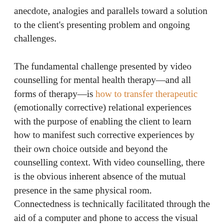anecdote, analogies and parallels toward a solution to the client's presenting problem and ongoing challenges.
The fundamental challenge presented by video counselling for mental health therapy—and all forms of therapy—is how to transfer therapeutic (emotionally corrective) relational experiences with the purpose of enabling the client to learn how to manifest such corrective experiences by their own choice outside and beyond the counselling context. With video counselling, there is the obvious inherent absence of the mutual presence in the same physical room. Connectedness is technically facilitated through the aid of a computer and phone to access the visual and auditory components of the interaction.